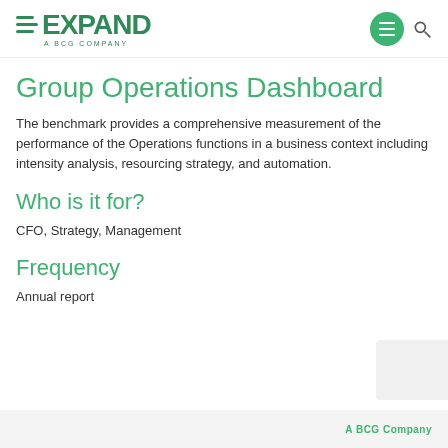EXPAND A BCG COMPANY
Group Operations Dashboard
The benchmark provides a comprehensive measurement of the performance of the Operations functions in a business context including intensity analysis, resourcing strategy, and automation.
Who is it for?
CFO, Strategy, Management
Frequency
Annual report
A BCG Company